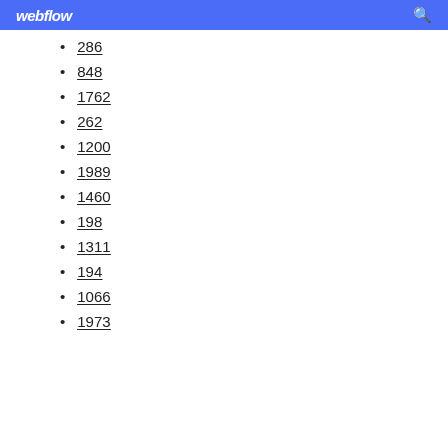webflow
286
848
1762
262
1200
1989
1460
198
1311
194
1066
1973